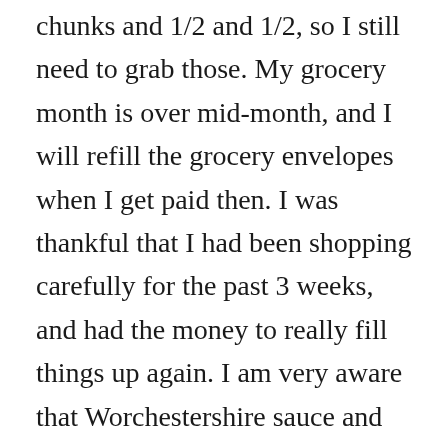chunks and 1/2 and 1/2, so I still need to grab those. My grocery month is over mid-month, and I will refill the grocery envelopes when I get paid then. I was thankful that I had been shopping carefully for the past 3 weeks, and had the money to really fill things up again. I am very aware that Worchestershire sauce and A1 are not needs, neither are some of the other things I bought, and if I had not had the money in the envelopes, I would have